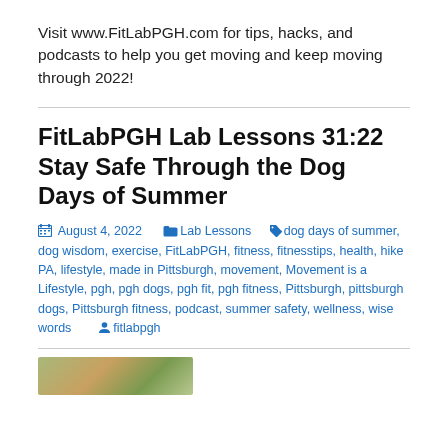Visit www.FitLabPGH.com for tips, hacks, and podcasts to help you get moving and keep moving through 2022!
FitLabPGH Lab Lessons 31:22 Stay Safe Through the Dog Days of Summer
August 4, 2022  Lab Lessons  dog days of summer, dog wisdom, exercise, FitLabPGH, fitness, fitnesstips, health, hike PA, lifestyle, made in Pittsburgh, movement, Movement is a Lifestyle, pgh, pgh dogs, pgh fit, pgh fitness, Pittsburgh, pittsburgh dogs, Pittsburgh fitness, podcast, summer safety, wellness, wise words  fitlabpgh
[Figure (photo): Thumbnail image showing outdoor/nature scene with green vegetation]